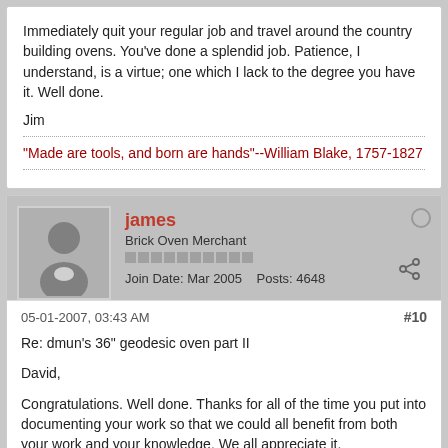Immediately quit your regular job and travel around the country building ovens. You've done a splendid job. Patience, I understand, is a virtue; one which I lack to the degree you have it. Well done.
Jim
"Made are tools, and born are hands"--William Blake, 1757-1827
james
Brick Oven Merchant
Join Date: Mar 2005   Posts: 4648
05-01-2007, 03:43 AM
#10
Re: dmun's 36" geodesic oven part II
David,
Congratulations. Well done. Thanks for all of the time you put into documenting your work so that we could all benefit from both your work and your knowledge. We all appreciate it.
Now, let's get cooking! From concrete dust to pizza flour dust.